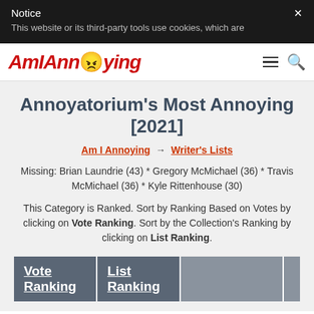Notice — This website or its third-party tools use cookies, which are
[Figure (logo): AmIAnnoying website logo with angry face emoji, red italic bold text, hamburger menu and search icon]
Annoyatorium's Most Annoying [2021]
Am I Annoying → Writer's Lists
Missing: Brian Laundrie (43) * Gregory McMichael (36) * Travis McMichael (36) * Kyle Rittenhouse (30)
This Category is Ranked. Sort by Ranking Based on Votes by clicking on Vote Ranking. Sort by the Collection's Ranking by clicking on List Ranking.
| Vote Ranking | List Ranking |  |  |
| --- | --- | --- | --- |